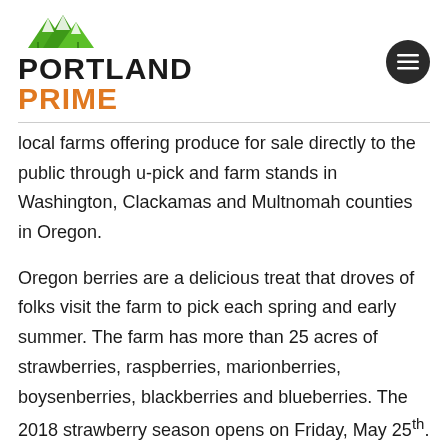[Figure (logo): Portland Prime logo with green mountain graphic above bold black text PORTLAND and orange text PRIME]
local farms offering produce for sale directly to the public through u-pick and farm stands in Washington, Clackamas and Multnomah counties in Oregon.
Oregon berries are a delicious treat that droves of folks visit the farm to pick each spring and early summer. The farm has more than 25 acres of strawberries, raspberries, marionberries, boysenberries, blackberries and blueberries. The 2018 strawberry season opens on Friday, May 25th.